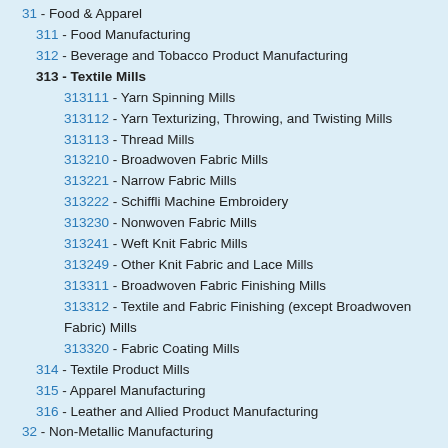31 - Food & Apparel
311 - Food Manufacturing
312 - Beverage and Tobacco Product Manufacturing
313 - Textile Mills
313111 - Yarn Spinning Mills
313112 - Yarn Texturizing, Throwing, and Twisting Mills
313113 - Thread Mills
313210 - Broadwoven Fabric Mills
313221 - Narrow Fabric Mills
313222 - Schiffli Machine Embroidery
313230 - Nonwoven Fabric Mills
313241 - Weft Knit Fabric Mills
313249 - Other Knit Fabric and Lace Mills
313311 - Broadwoven Fabric Finishing Mills
313312 - Textile and Fabric Finishing (except Broadwoven Fabric) Mills
313320 - Fabric Coating Mills
314 - Textile Product Mills
315 - Apparel Manufacturing
316 - Leather and Allied Product Manufacturing
32 - Non-Metallic Manufacturing